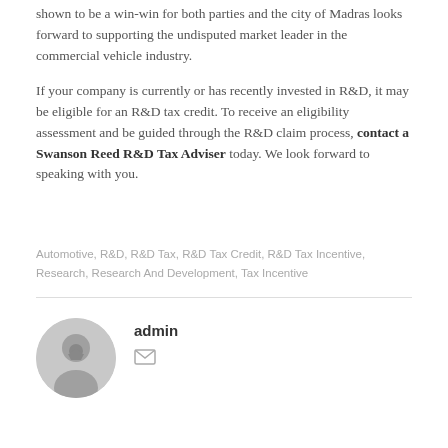shown to be a win-win for both parties and the city of Madras looks forward to supporting the undisputed market leader in the commercial vehicle industry.
If your company is currently or has recently invested in R&D, it may be eligible for an R&D tax credit. To receive an eligibility assessment and be guided through the R&D claim process, contact a Swanson Reed R&D Tax Adviser today. We look forward to speaking with you.
Automotive, R&D, R&D Tax, R&D Tax Credit, R&D Tax Incentive, Research, Research And Development, Tax Incentive
admin